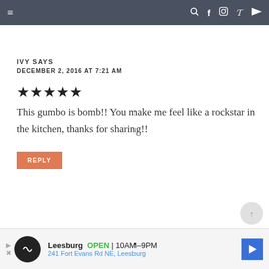≡   🔍 f 📷 p ▶
IVY SAYS
DECEMBER 2, 2016 AT 7:21 AM
★★★★★
This gumbo is bomb!! You make me feel like a rockstar in the kitchen, thanks for sharing!!
REPLY
[Figure (other): Advertisement banner: Leesburg OPEN 10AM-9PM, 241 Fort Evans Rd NE, Leesburg with navigation arrow icon]